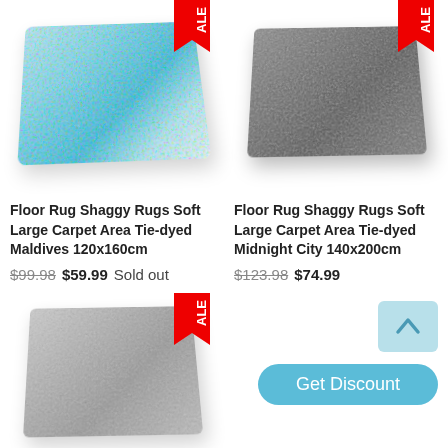[Figure (photo): Blue/teal tie-dyed shaggy rug, viewed from above at slight angle, with red SALE badge]
[Figure (photo): Dark gray tie-dyed shaggy rug, viewed from above at slight angle, with red SALE badge]
Floor Rug Shaggy Rugs Soft Large Carpet Area Tie-dyed Maldives 120x160cm
Floor Rug Shaggy Rugs Soft Large Carpet Area Tie-dyed Midnight City 140x200cm
$99.98 $59.99 Sold out
$123.98 $74.99
[Figure (photo): Gray tie-dyed shaggy rug, partially visible at bottom left, with red SALE badge]
[Figure (other): Back to top button (light blue square with up arrow)]
Get Discount